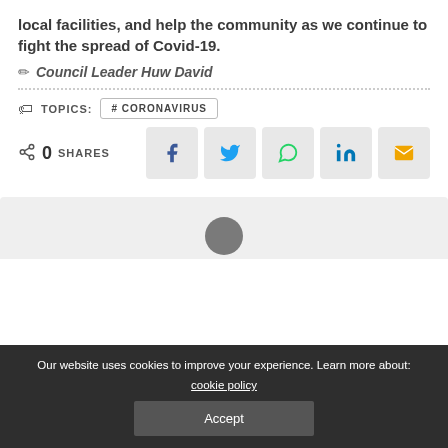local facilities, and help the community as we continue to fight the spread of Covid-19.
Council Leader Huw David
TOPICS: # CORONAVIRUS
0 SHARES
[Figure (other): Social share buttons: Facebook, Twitter, WhatsApp, LinkedIn, Email]
[Figure (other): Preview box with avatar circle]
Our website uses cookies to improve your experience. Learn more about: cookie policy Accept